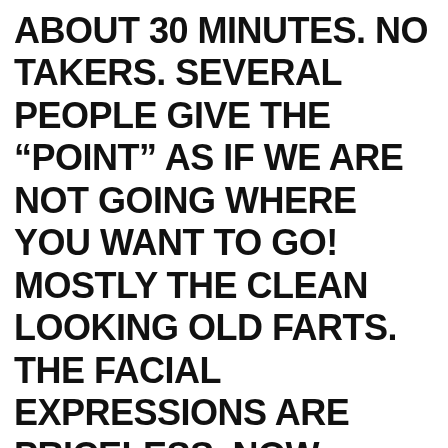ABOUT 30 MINUTES. NO TAKERS. SEVERAL PEOPLE GIVE THE “POINT” AS IF WE ARE NOT GOING WHERE YOU WANT TO GO! MOSTLY THE CLEAN LOOKING OLD FARTS. THE FACIAL EXPRESSIONS ARE PRICELESS. NOW WHERE IS THAT EX GIRLFRIEND???  I CAN’T TELL YOU JUST HOW MANY KIND PEOPLE HAVE BEEN OBLIGED TO OFFER. THAT’S A BOOK OF ITS OWN!!! WOW JUST HOW ENCOURAGING IT IS WHEN YOU SEE THOSE BRAKE LIGHTS. ( YOU HAVE TO HEAR MY VERMONT STORY😊 HE STORIES!!!